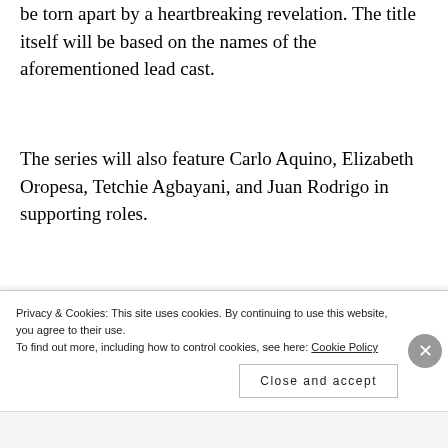be torn apart by a heartbreaking revelation. The title itself will be based on the names of the aforementioned lead cast.
The series will also feature Carlo Aquino, Elizabeth Oropesa, Tetchie Agbayani, and Juan Rodrigo in supporting roles.
[Figure (screenshot): Video thumbnail showing ABS-CBN rainbow satellite logo on purple circle background with text 'FLORDELIZA Ful' and three-dot menu icon on black background]
Privacy & Cookies: This site uses cookies. By continuing to use this website, you agree to their use.
To find out more, including how to control cookies, see here: Cookie Policy
Close and accept